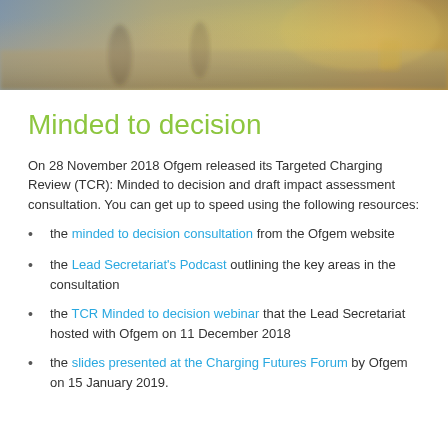[Figure (photo): Street-level photo banner showing people walking on a paved surface with warm sunlight and shopping bags]
Minded to decision
On 28 November 2018 Ofgem released its Targeted Charging Review (TCR): Minded to decision and draft impact assessment consultation. You can get up to speed using the following resources:
the minded to decision consultation from the Ofgem website
the Lead Secretariat's Podcast outlining the key areas in the consultation
the TCR Minded to decision webinar that the Lead Secretariat hosted with Ofgem on 11 December 2018
the slides presented at the Charging Futures Forum by Ofgem on 15 January 2019.